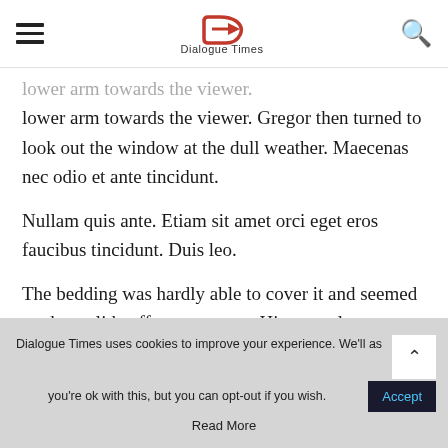Dialogue Times
lower arm towards the viewer. Gregor then turned to look out the window at the dull weather. Maecenas nec odio et ante tincidunt.
Nullam quis ante. Etiam sit amet orci eget eros faucibus tincidunt. Duis leo.
The bedding was hardly able to cover it and seemed ready to slide off any moment. His many legs, pitifully thin compared with the size of the rest of him, waved about helplessly as he looked. “What’s happened to me?” he thought. It wasn’t a
Dialogue Times uses cookies to improve your experience. We'll as you're ok with this, but you can opt-out if you wish. Accept. Read More